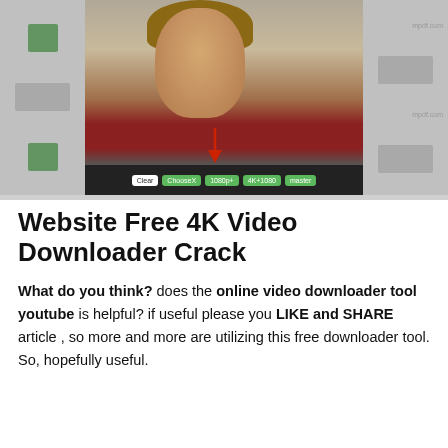[Figure (screenshot): Screenshot of a video player interface showing a bored-looking student in a classroom with green download buttons at the bottom and a red arrow pointing to them. Side panels show thumbnail images.]
Website Free 4K Video Downloader Crack
What do you think? does the online video downloader tool youtube is helpful? if useful please you LIKE and SHARE article , so more and more are utilizing this free downloader tool. So, hopefully useful.